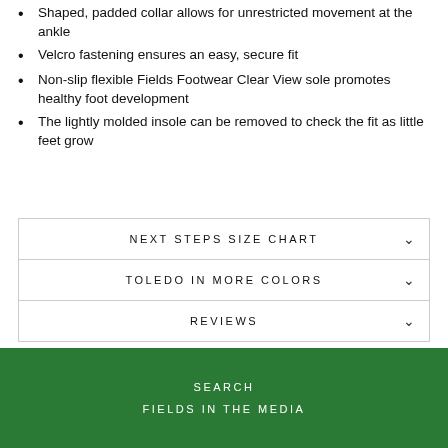Shaped, padded collar allows for unrestricted movement at the ankle
Velcro fastening ensures an easy, secure fit
Non-slip flexible Fields Footwear Clear View sole promotes healthy foot development
The lightly molded insole can be removed to check the fit as little feet grow
NEXT STEPS SIZE CHART
TOLEDO IN MORE COLORS
REVIEWS
SEARCH
FIELDS IN THE MEDIA